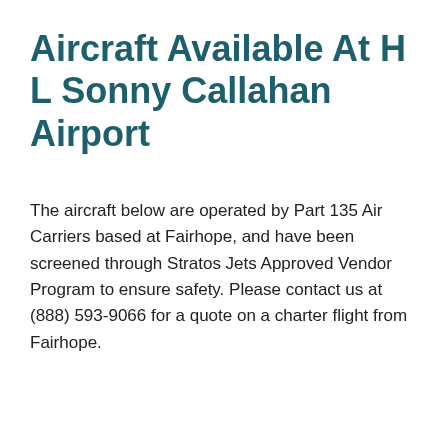Aircraft Available At H L Sonny Callahan Airport
The aircraft below are operated by Part 135 Air Carriers based at Fairhope, and have been screened through Stratos Jets Approved Vendor Program to ensure safety. Please contact us at (888) 593-9066 for a quote on a charter flight from Fairhope.